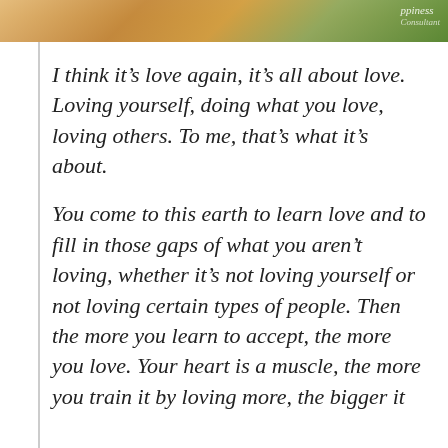[Figure (photo): Photo strip at top of page showing a person, with warm orange and green tones, partial view cropped. Watermark reading 'ppiness' and small subtext visible in top right corner.]
I think it’s love again, it’s all about love. Loving yourself, doing what you love, loving others. To me, that’s what it’s about.
You come to this earth to learn love and to fill in those gaps of what you aren’t loving, whether it’s not loving yourself or not loving certain types of people. Then the more you learn to accept, the more you love. Your heart is a muscle, the more you train it by loving more, the bigger it